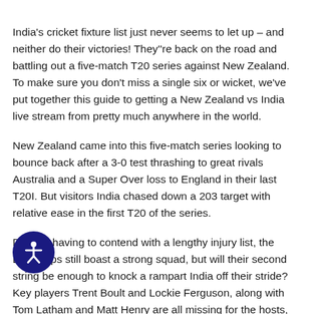India's cricket fixture list just never seems to let up – and neither do their victories! They''re back on the road and battling out a five-match T20 series against New Zealand. To make sure you don't miss a single six or wicket, we've put together this guide to getting a New Zealand vs India live stream from pretty much anywhere in the world.
New Zealand came into this five-match series looking to bounce back after a 3-0 test thrashing to great rivals Australia and a Super Over loss to England in their last T20I. But visitors India chased down a 203 target with relative ease in the first T20 of the series.
Despite having to contend with a lengthy injury list, the Blackcaps still boast a strong squad, but will their second string be enough to knock a rampart India off their stride? Key players Trent Boult and Lockie Ferguson, along with Tom Latham and Matt Henry are all missing for the hosts, but there's a recall for paceman Hamish Bennett. Another plus for the Blackcaps will be the return of Kane